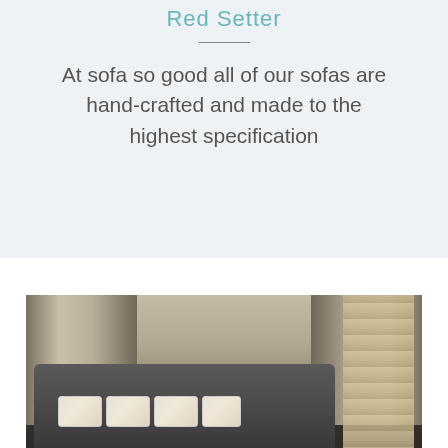Red Setter
At sofa so good all of our sofas are hand-crafted and made to the highest specification
[Figure (photo): A large dark grey sectional sofa with cream and patterned cushions placed in an elegant room with large French doors and draped curtains in the background.]